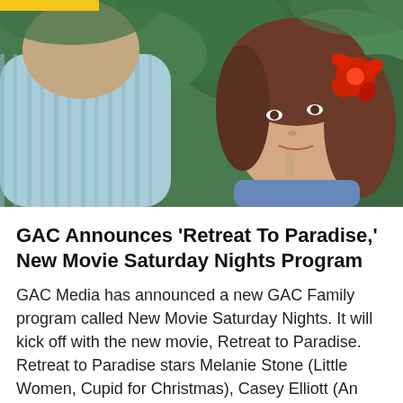[Figure (photo): A woman with a red hibiscus flower in her brown hair looks toward a man in a light blue striped shirt, with green foliage in the background. A yellow bar appears at the top left corner.]
GAC Announces ‘Retreat To Paradise,’ New Movie Saturday Nights Program
GAC Media has announced a new GAC Family program called New Movie Saturday Nights. It will kick off with the new movie, Retreat to Paradise. Retreat to Paradise stars Melanie Stone (Little Women, Cupid for Christmas), Casey Elliott (An Hour Behind, Out of Liberty), Brian Krause (Harmony In